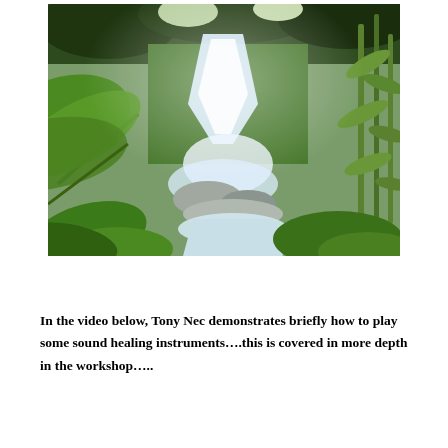[Figure (photo): A tropical waterfall cascading over rocks, surrounded by lush green ferns, palm fronds, and bamboo in bright sunlight.]
In the video below, Tony Nec demonstrates briefly how to play some sound healing instruments….this is covered in more depth in the workshop…..